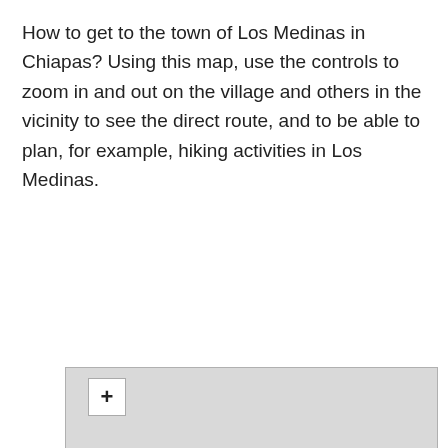How to get to the town of Los Medinas in Chiapas? Using this map, use the controls to zoom in and out on the village and others in the vicinity to see the direct route, and to be able to plan, for example, hiking activities in Los Medinas.
[Figure (map): Partial view of an interactive map with a zoom-in (+) button visible in the upper-left corner. The map area has a light grey background.]